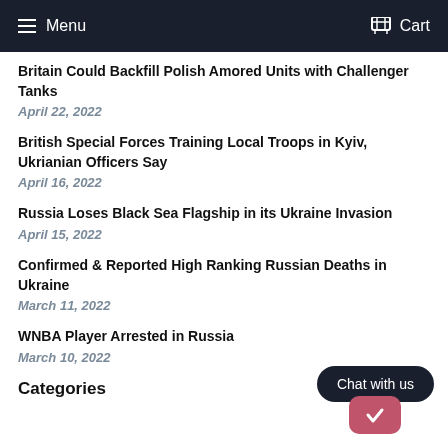Menu  Cart
Britain Could Backfill Polish Amored Units with Challenger Tanks
April 22, 2022
British Special Forces Training Local Troops in Kyiv, Ukrianian Officers Say
April 16, 2022
Russia Loses Black Sea Flagship in its Ukraine Invasion
April 15, 2022
Confirmed & Reported High Ranking Russian Deaths in Ukraine
March 11, 2022
WNBA Player Arrested in Russia
March 10, 2022
Categories